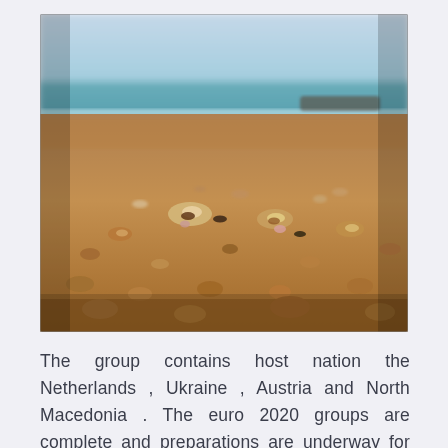[Figure (photo): Close-up photograph of a sandy beach covered with small seashells and pebbles, with a blurred turquoise ocean and sky in the background.]
The group contains host nation the Netherlands , Ukraine , Austria and North Macedonia . The euro 2020 groups are complete and preparations are underway for the championship's kick off on 11th june 2021. The